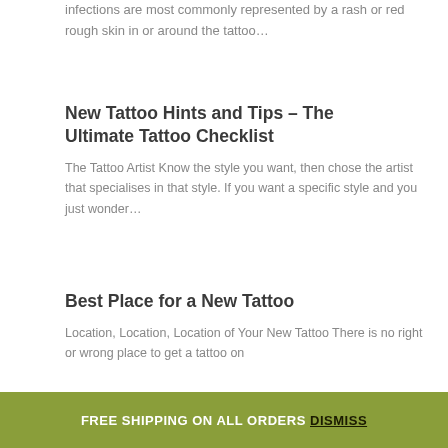infections are most commonly represented by a rash or red rough skin in or around the tattoo…
New Tattoo Hints and Tips – The Ultimate Tattoo Checklist
The Tattoo Artist Know the style you want, then chose the artist that specialises in that style. If you want a specific style and you just wonder…
Best Place for a New Tattoo
Location, Location, Location of Your New Tattoo There is no right or wrong place to get a tattoo on
FREE SHIPPING ON ALL ORDERS Dismiss